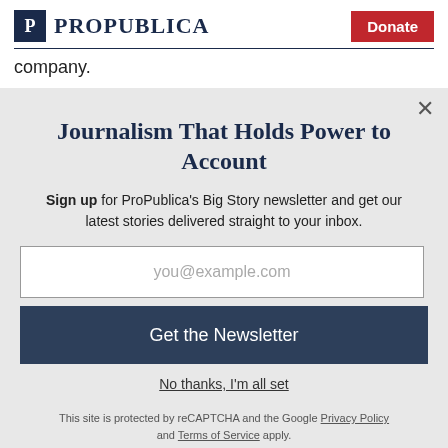ProPublica | Donate
company.
Journalism That Holds Power to Account
Sign up for ProPublica's Big Story newsletter and get our latest stories delivered straight to your inbox.
you@example.com
Get the Newsletter
No thanks, I'm all set
This site is protected by reCAPTCHA and the Google Privacy Policy and Terms of Service apply.